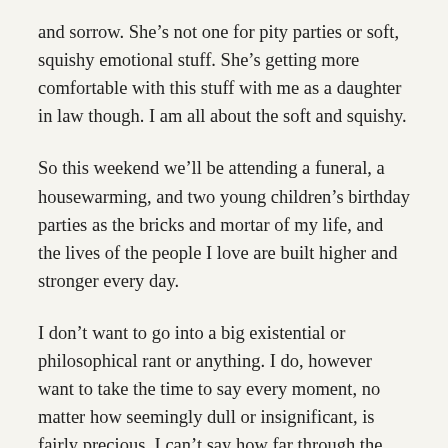and sorrow. She’s not one for pity parties or soft, squishy emotional stuff. She’s getting more comfortable with this stuff with me as a daughter in law though. I am all about the soft and squishy.
So this weekend we’ll be attending a funeral, a housewarming, and two young children’s birthday parties as the bricks and mortar of my life, and the lives of the people I love are built higher and stronger every day.
I don’t want to go into a big existential or philosophical rant or anything. I do, however want to take the time to say every moment, no matter how seemingly dull or insignificant, is fairly precious. I can’t say how far through the journey any of us are, and I don’t know what